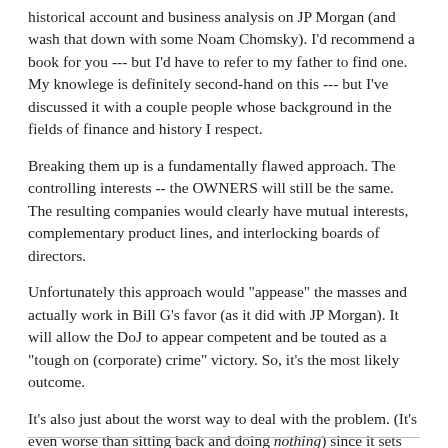historical account and business analysis on JP Morgan (and wash that down with some Noam Chomsky). I'd recommend a book for you --- but I'd have to refer to my father to find one. My knowlege is definitely second-hand on this --- but I've discussed it with a couple people whose background in the fields of finance and history I respect.
Breaking them up is a fundamentally flawed approach. The controlling interests -- the OWNERS will still be the same. The resulting companies would clearly have mutual interests, complementary product lines, and interlocking boards of directors.
Unfortunately this approach would "appease" the masses and actually work in Bill G's favor (as it did with JP Morgan). It will allow the DoJ to appear competent and be touted as a "tough on (corporate) crime" victory. So, it's the most likely outcome.
It's also just about the worst way to deal with the problem. (It's even worse than sitting back and doing nothing) since it sets another bad precedent.